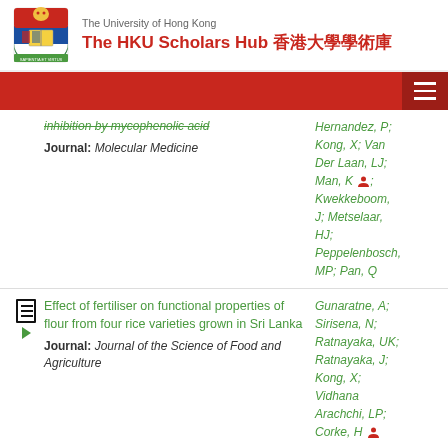The University of Hong Kong | The HKU Scholars Hub 香港大學學術庫
inhibition by mycophenolic acid | Journal: Molecular Medicine | Authors: Hernandez, P; Kong, X; Van Der Laan, LJ; Man, K; Kwekkeboom, J; Metselaar, HJ; Peppelenbosch, MP; Pan, Q
Effect of fertiliser on functional properties of flour from four rice varieties grown in Sri Lanka | Journal: Journal of the Science of Food and Agriculture | Authors: Gunaratne, A; Sirisena, N; Ratnayaka, UK; Ratnayaka, J; Kong, X; Vidhana Arachchi, LP; Corke, H